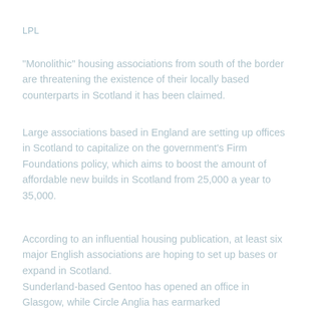LPL
"Monolithic" housing associations from south of the border are threatening the existence of their locally based counterparts in Scotland it has been claimed.
Large associations based in England are setting up offices in Scotland to capitalize on the government's Firm Foundations policy, which aims to boost the amount of affordable new builds in Scotland from 25,000 a year to 35,000.
According to an influential housing publication, at least six major English associations are hoping to set up bases or expand in Scotland.
Sunderland-based Gentoo has opened an office in Glasgow, while Circle Anglia has earmarked...